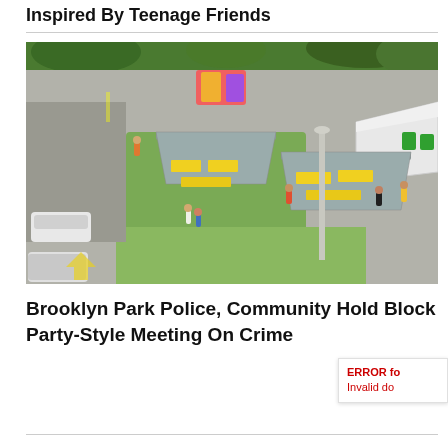Inspired By Teenage Friends
[Figure (photo): Aerial view of a community block party in a parking lot area with canopy tents, yellow tables, people gathered, bounce house, and surrounding trees and grass]
Brooklyn Park Police, Community Hold Block Party-Style Meeting On Crime
ERROR for Invalid do…